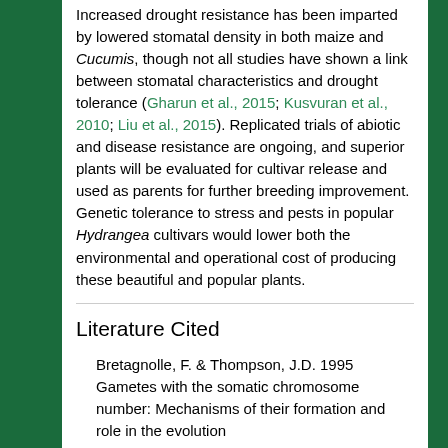Increased drought resistance has been imparted by lowered stomatal density in both maize and Cucumis, though not all studies have shown a link between stomatal characteristics and drought tolerance (Gharun et al., 2015; Kusvuran et al., 2010; Liu et al., 2015). Replicated trials of abiotic and disease resistance are ongoing, and superior plants will be evaluated for cultivar release and used as parents for further breeding improvement. Genetic tolerance to stress and pests in popular Hydrangea cultivars would lower both the environmental and operational cost of producing these beautiful and popular plants.
Literature Cited
Bretagnolle, F. & Thompson, J.D. 1995 Gametes with the somatic chromosome number: Mechanisms of their formation and role in the evolution